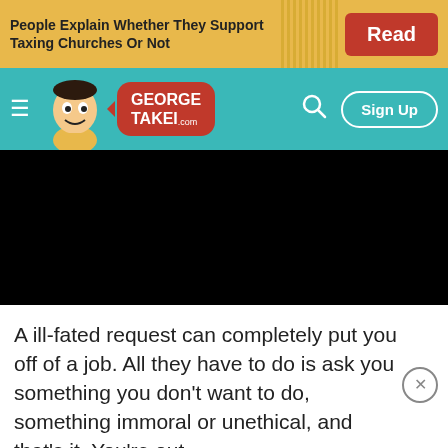[Figure (screenshot): Advertisement banner: yellow background with text 'People Explain Whether They Support Taxing Churches Or Not' and a red 'Read' button]
[Figure (screenshot): GeorgeTakei.com website navigation bar: teal background with hamburger menu, cartoon mascot, red logo bubble, search icon, and Sign Up button]
[Figure (screenshot): Black video player area]
A ill-fated request can completely put you off of a job. All they have to do is ask you something you don't want to do, something immoral or unethical, and that's it. You're out.